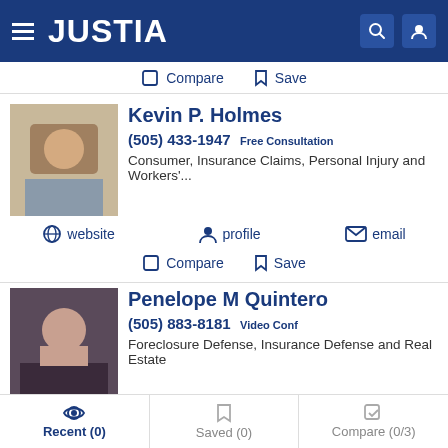[Figure (screenshot): Justia website header with hamburger menu, JUSTIA logo, search icon, and user icon on dark blue background]
Compare  Save
Kevin P. Holmes
(505) 433-1947  Free Consultation
Consumer, Insurance Claims, Personal Injury and Workers'...
website  profile  email
Compare  Save
Penelope M Quintero
(505) 883-8181  Video Conf
Foreclosure Defense, Insurance Defense and Real Estate
website  profile  email
Recent (0)  Saved (0)  Compare (0/3)